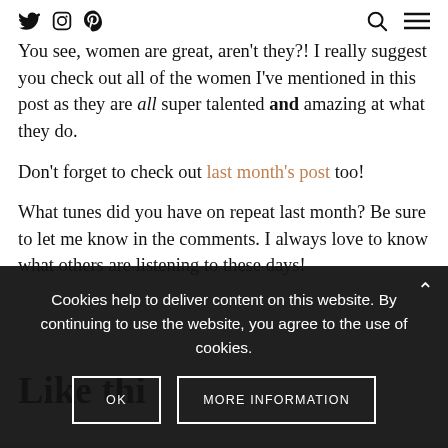Twitter Instagram Pinterest | Search Menu
You see, women are great, aren't they?! I really suggest you check out all of the women I've mentioned in this post as they are all super talented and amazing at what they do.
Don't forget to check out last month's post too!
What tunes did you have on repeat last month? Be sure to let me know in the comments. I always love to know what others are listening to these days!
Like thi
Cookies help to deliver content on this website. By continuing to use the website, you agree to the use of cookies.
OK | MORE INFORMATION